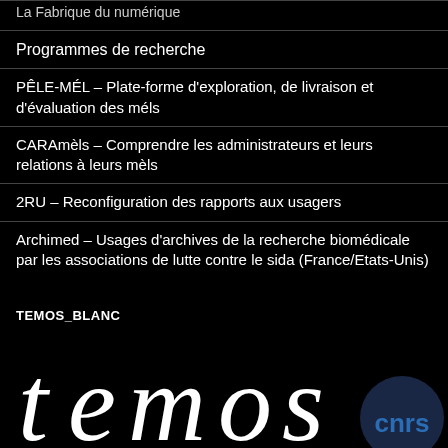La Fabrique du numérique
Programmes de recherche
PÊLE-MÉL – Plate-forme d'exploration, de livraison et d'évaluation des méls
CARAmèls – Comprendre les administrateurs et leurs relations à leurs mèls
2RU – Reconfiguration des rapports aux usagers
Archimed – Usages d'archives de la recherche biomédicale par les associations de lutte contre le sida (France/Etats-Unis)
TEMOS_BLANC
[Figure (logo): TEMOS and CNRS logos in white/dark on black background. Large stylized 'temos' lettering with a CNRS circular logo to the right.]